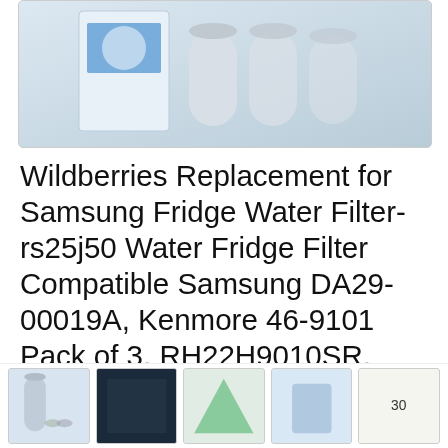[Figure (photo): Product photo of Samsung fridge water filter replacement, showing filter box and cylindrical filters on blue/white gradient background]
Wildberries Replacement for Samsung Fridge Water Filter- rs25j50 Water Fridge Filter Compatible Samsung DA29-00019A, Kenmore 46-9101 Pack of 3, RH22H9010SR, DA-97-08006A-B, HAF-CIN/EXP
#ad
As an Amazon Associate I earn from qualifying purchases. This website uses the only necessary cookies to ensure you get the best experience on our website. More information
[Figure (photo): Thumbnail strip of product images at bottom of page]